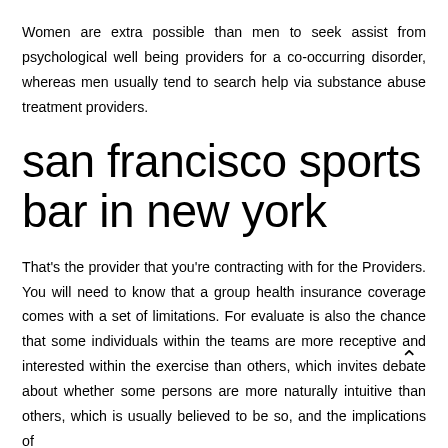Women are extra possible than men to seek assist from psychological well being providers for a co-occurring disorder, whereas men usually tend to search help via substance abuse treatment providers.
san francisco sports bar in new york
That's the provider that you're contracting with for the Providers. You will need to know that a group health insurance coverage comes with a set of limitations. For evaluate is also the chance that some individuals within the teams are more receptive and interested within the exercise than others, which invites debate about whether some persons are more naturally intuitive than others, which is usually believed to be so, and the implications of